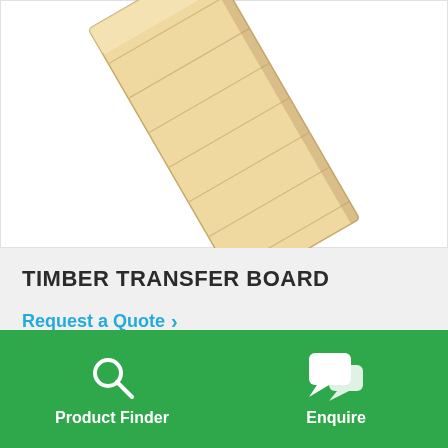[Figure (photo): A timber transfer board (wooden plank/board) shown at a diagonal angle against white background. The board is light natural wood color with visible grain lines.]
TIMBER TRANSFER BOARD
Request a Quote
Product Finder
Enquire